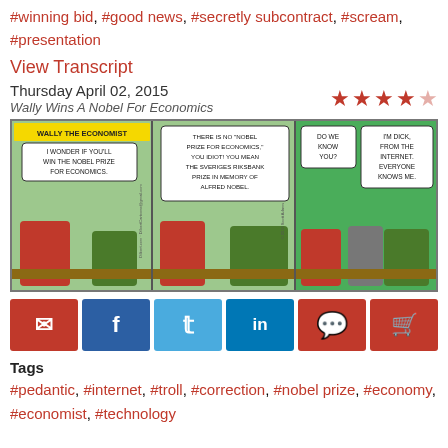#winning bid, #good news, #secretly subcontract, #scream, #presentation
View Transcript
Thursday April 02, 2015
Wally Wins A Nobel For Economics
[Figure (illustration): Dilbert comic strip: Wally Wins A Nobel For Economics. Three panels. Panel 1: Character says 'I wonder if you'll win the Nobel Prize for Economics.' Panel 2: Character corrects 'There is no Nobel Prize for Economics, you idiot! You mean the Sveriges Riksbank Prize in Memory of Alfred Nobel.' Panel 3: 'Do we know you?' 'I'm Dick, from the Internet. Everyone knows me.']
Social share buttons: email, facebook, twitter, linkedin, comment, cart
Tags
#pedantic, #internet, #troll, #correction, #nobel prize, #economy, #economist, #technology